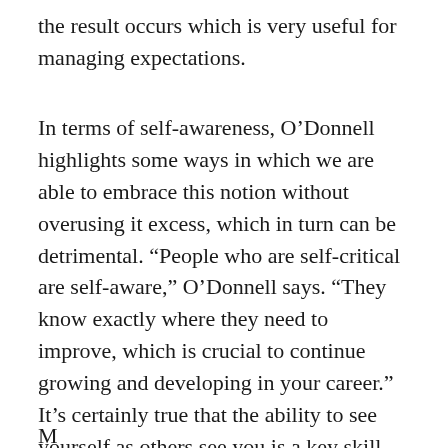the result occurs which is very useful for managing expectations.
In terms of self-awareness, O'Donnell highlights some ways in which we are able to embrace this notion without overusing it excess, which in turn can be detrimental. “People who are self-critical are self-aware,” O’Donnell says. “They know exactly where they need to improve, which is crucial to continue growing and developing in your career.” It’s certainly true that the ability to see yourself as others see you is a key skill for effective leaders, and just about everyone else.
M...